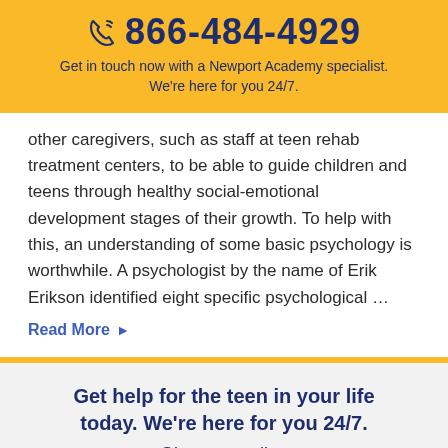866-484-4929
Get in touch now with a Newport Academy specialist. We're here for you 24/7.
other caregivers, such as staff at teen rehab treatment centers, to be able to guide children and teens through healthy social-emotional development stages of their growth. To help with this, an understanding of some basic psychology is worthwhile. A psychologist by the name of Erik Erikson identified eight specific psychological …
Read More ▸
Get help for the teen in your life today. We're here for you 24/7.
Give us a call at